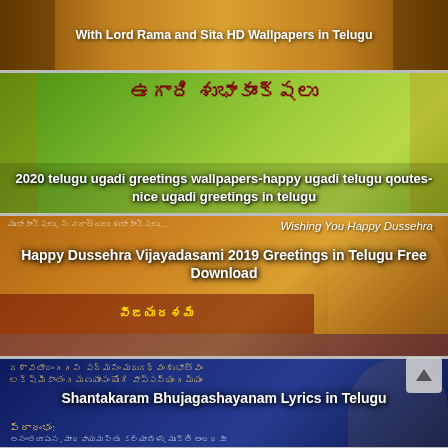[Figure (photo): Partial top card showing Lord Rama and Sita wallpaper with Telugu text overlay reading 'With Lord Rama and Sita HD Wallpapers in Telugu']
[Figure (photo): Green background Ugadi greetings card with Telugu script text and decorative elements, overlay text: '2020 telugu ugadi greetings wallpapers-happy ugadi telugu qoutes-nice ugadi greetings in telugu']
[Figure (photo): Golden/orange background Dussehra card with goddess image and Telugu script, overlay text: 'Happy Dussehra Vijayadasami 2019 Greetings in Telugu Free Download']
[Figure (photo): Blue background card with Vishnu deity image and Telugu lyrics, overlay text: 'Shantakaram Bhujagashayanam Lyrics in Telugu']
[Figure (photo): Orange background Varalakshmi card with goddess image, overlay text: 'Sravana Varalakshmi Vratam HD Wallpapers Wishes quotes Greetings in Telugu']